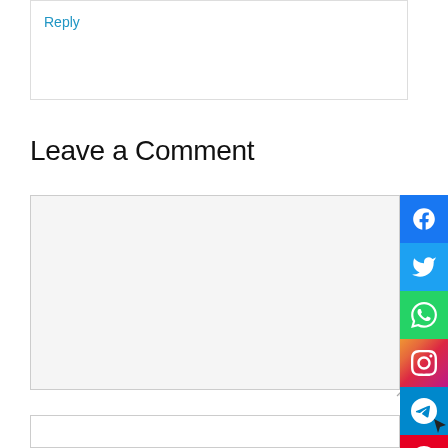Reply
Leave a Comment
[Figure (screenshot): Comment form with textarea and social sharing sidebar icons (Facebook, Twitter, WhatsApp, Instagram, Telegram, Pinterest)]